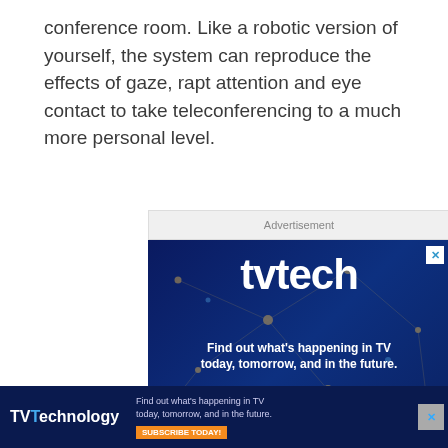conference room. Like a robotic version of yourself, the system can reproduce the effects of gaze, rapt attention and eye contact to take teleconferencing to a much more personal level.
[Figure (illustration): Advertisement banner for tvtech magazine. Dark blue background with network/tech node graphics. Large white bold 'tvtech' logo, subtitle 'Find out what's happening in TV today, tomorrow, and in the future.' and orange 'SUBSCRIBE TODAY!' button at the bottom.]
[Figure (illustration): Bottom floating advertisement bar for TVTechnology. Dark blue background, TVTechnology logo on the left, text 'Find out what's happening in TV today, tomorrow, and in the future.' with orange SUBSCRIBE TODAY button.]